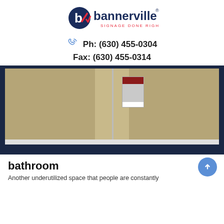[Figure (logo): Bannerville logo with 'b' icon and tagline SIGNAGE DONE RIGHT]
Ph: (630) 455-0304
Fax: (630) 455-0314
[Figure (photo): Photo of bathroom door stall area with a poster attached to the door, set against a dark navy blue background]
bathroom
Another underutilized space that people are constantly